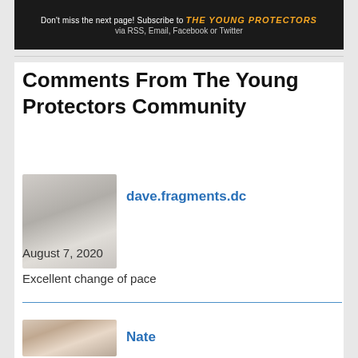[Figure (screenshot): Dark banner with text 'Don't miss the next page! Subscribe to THE YOUNG PROTECTORS via RSS, Email, Facebook or Twitter']
Comments From The Young Protectors Community
dave.fragments.dc
August 7, 2020
Excellent change of pace
Nate